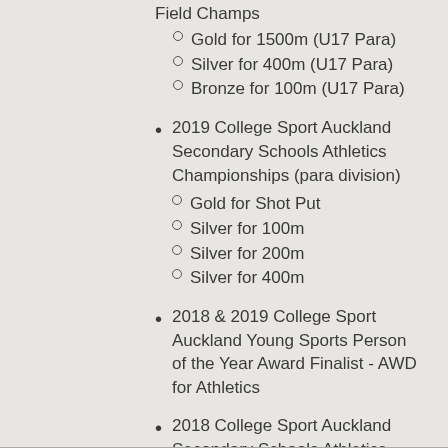Field Champs
Gold for 1500m (U17 Para)
Silver for 400m (U17 Para)
Bronze for 100m (U17 Para)
2019 College Sport Auckland Secondary Schools Athletics Championships (para division)
Gold for Shot Put
Silver for 100m
Silver for 200m
Silver for 400m
2018 & 2019 College Sport Auckland Young Sports Person of the Year Award Finalist - AWD for Athletics
2018 College Sport Auckland Secondary Schools Athletics Championships (Junior Para Boys)
Gold for 100m
Gold for 200m
Gold for 300m